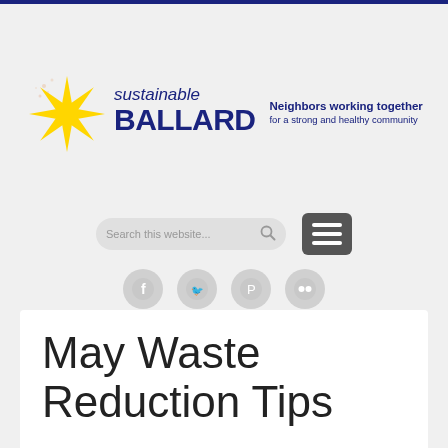[Figure (logo): Sustainable Ballard logo with yellow star/asterisk graphic, text 'sustainable BALLARD' in navy blue, and tagline 'Neighbors working together for a strong and healthy community']
[Figure (screenshot): Website navigation area with search bar labeled 'Search this website...' and hamburger menu icon]
[Figure (screenshot): Social media icons row: Facebook, Twitter, Pinterest, Flickr]
May Waste Reduction Tips